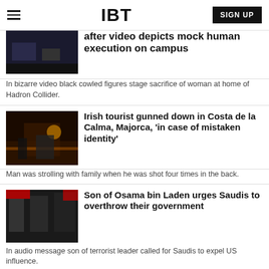IBT
after video depicts mock human execution on campus
In bizarre video black cowled figures stage sacrifice of woman at home of Hadron Collider.
Irish tourist gunned down in Costa de la Calma, Majorca, 'in case of mistaken identity'
Man was strolling with family when he was shot four times in the back.
Son of Osama bin Laden urges Saudis to overthrow their government
In audio message son of terrorist leader called for Saudis to expel US influence.